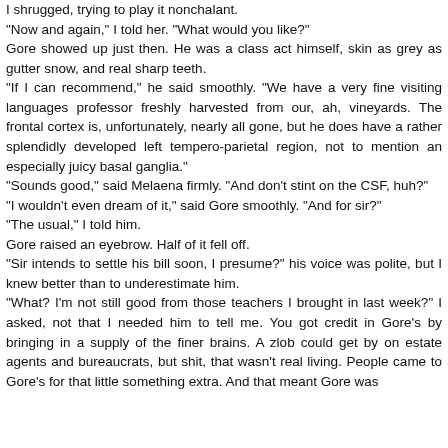I shrugged, trying to play it nonchalant.
"Now and again," I told her.  "What would you like?"
Gore showed up just then.  He was a class act himself, skin as grey as gutter snow, and real sharp teeth.
"If I can recommend," he said smoothly.  "We have a very fine visiting languages professor freshly harvested from our, ah, vineyards.  The frontal cortex is, unfortunately, nearly all gone, but he does have a rather splendidly developed left tempero-parietal region, not to mention an especially juicy basal ganglia."
"Sounds good," said Melaena firmly.  "And don't stint on the CSF, huh?"
"I wouldn't even dream of it," said Gore smoothly.  "And for sir?"
"The usual," I told him.
Gore raised an eyebrow.  Half of it fell off.
"Sir intends to settle his bill soon, I presume?" his voice was polite, but I knew better than to underestimate him.
"What?  I'm not still good from those teachers I brought in last week?" I asked, not that I needed him to tell me.  You got credit in Gore's by bringing in a supply of the finer brains.  A zlob could get by on estate agents and bureaucrats, but shit, that wasn't real living.  People came to Gore's for that little something extra.  And that meant Gore was